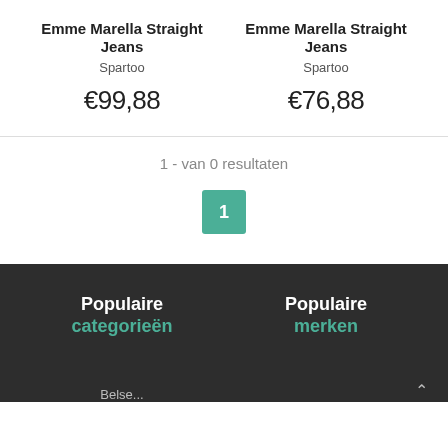Emme Marella Straight Jeans
Spartoo
€99,88
Emme Marella Straight Jeans
Spartoo
€76,88
1 - van 0 resultaten
1
Populaire categorieën
Populaire merken